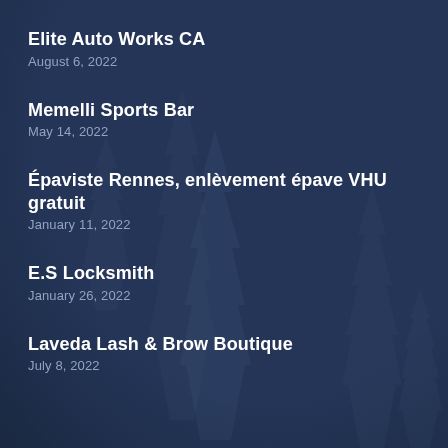Elite Auto Works CA
August 6, 2022
Memelli Sports Bar
May 14, 2022
Épaviste Rennes, enlèvement épave VHU gratuit
January 11, 2022
E.S Locksmith
January 26, 2022
Laveda Lash & Brow Boutique
July 8, 2022